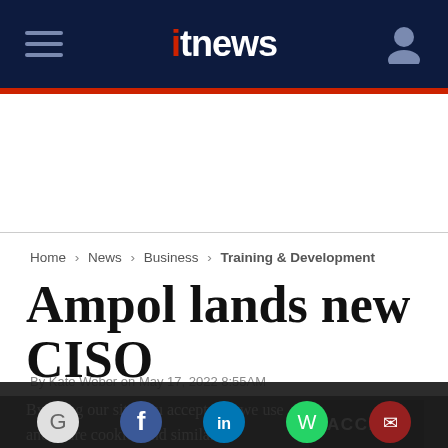itnews
Home > News > Business > Training & Development
Ampol lands new CISO
By using our site you accept that we use and share cookies and similar technologies to perform analytics and provide content and ads tailored to your interests. By continuing to use our site, you consent to this. Please see our Cookie Policy for more information.